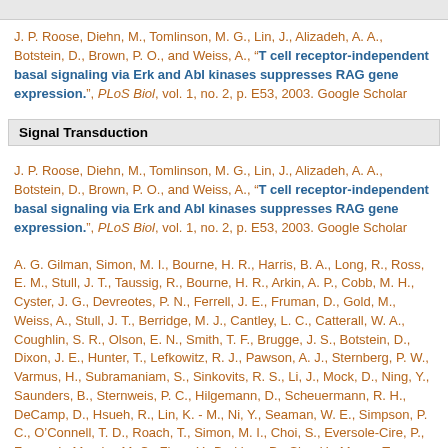J. P. Roose, Diehn, M., Tomlinson, M. G., Lin, J., Alizadeh, A. A., Botstein, D., Brown, P. O., and Weiss, A., “T cell receptor-independent basal signaling via Erk and Abl kinases suppresses RAG gene expression.”, PLoS Biol, vol. 1, no. 2, p. E53, 2003. Google Scholar
Signal Transduction
J. P. Roose, Diehn, M., Tomlinson, M. G., Lin, J., Alizadeh, A. A., Botstein, D., Brown, P. O., and Weiss, A., “T cell receptor-independent basal signaling via Erk and Abl kinases suppresses RAG gene expression.”, PLoS Biol, vol. 1, no. 2, p. E53, 2003. Google Scholar
A. G. Gilman, Simon, M. I., Bourne, H. R., Harris, B. A., Long, R., Ross, E. M., Stull, J. T., Taussig, R., Bourne, H. R., Arkin, A. P., Cobb, M. H., Cyster, J. G., Devreotes, P. N., Ferrell, J. E., Fruman, D., Gold, M., Weiss, A., Stull, J. T., Berridge, M. J., Cantley, L. C., Catterall, W. A., Coughlin, S. R., Olson, E. N., Smith, T. F., Brugge, J. S., Botstein, D., Dixon, J. E., Hunter, T., Lefkowitz, R. J., Pawson, A. J., Sternberg, P. W., Varmus, H., Subramaniam, S., Sinkovits, R. S., Li, J., Mock, D., Ning, Y., Saunders, B., Sternweis, P. C., Hilgemann, D., Scheuermann, R. H., DeCamp, D., Hsueh, R., Lin, K. - M., Ni, Y., Seaman, W. E., Simpson, P. C., O’Connell, T. D., Roach, T., Simon, M. I., Choi, S., Eversole-Cire, P., Fraser, I., Mumby, M. C., Zhao, Y., Brekken, D., Shu, H., Meyer, T., Chandy, G., Heo, W. Do, Liou, J., O’Rourke, N., Verghese, M., Mumby, S. M., Han,